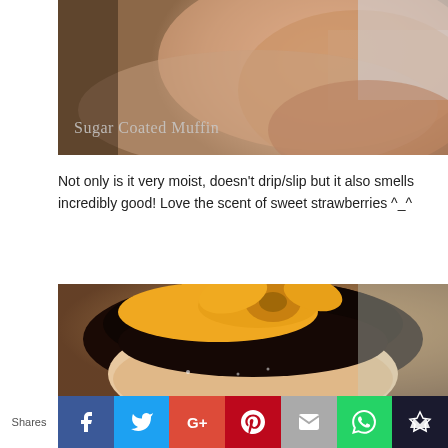[Figure (photo): Close-up photo of a person's neck and lower face in profile view, with 'Sugar Coated Muffin' watermark text in bottom left corner]
Not only is it very moist, doesn't drip/slip but it also smells incredibly good! Love the scent of sweet strawberries ^_^
[Figure (photo): Close-up photo of the top of a person's head wearing a yellow/orange knotted headband, showing forehead and hairline]
Shares [Facebook] [Twitter] [Google+] [Pinterest] [Email] [WhatsApp] [other]